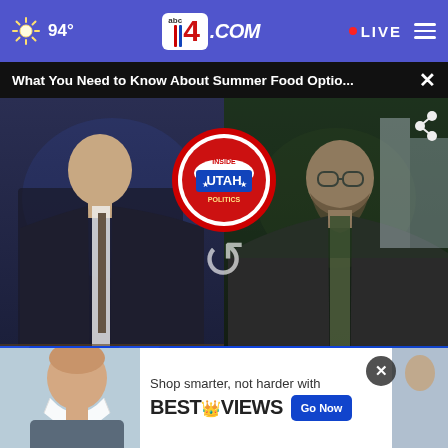94° abc4.com LIVE
What You Need to Know About Summer Food Optio... ×
[Figure (screenshot): ABC4 News broadcast screenshot showing two anchors in split-screen view with 'Inside Utah Politics' lower-third graphic. Left panel shows male anchor at desk labeled 'ABC4 STUDIO'. Center shows Inside Utah Politics logo. Right panel shows bearded male guest labeled 'ABC4 STUDIO'. Replay icon visible in center.]
[Figure (photo): Advertisement overlay showing person wearing mask, with BestReviews ad: 'Shop smarter, not harder with BESTREVIEWS' and 'Go Now' button]